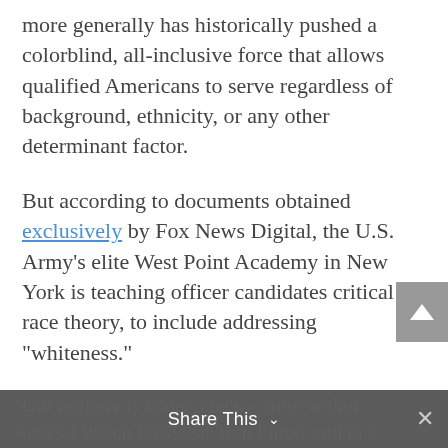more generally has historically pushed a colorblind, all-inclusive force that allows qualified Americans to serve regardless of background, ethnicity, or any other determinant factor.
But according to documents obtained exclusively by Fox News Digital, the U.S. Army's elite West Point Academy in New York is teaching officer candidates critical race theory, to include addressing "whiteness."
The network obtained the documents from government watchdog group Judicial Watch. Officials there said the organization was forced to file two Freedom of Information Act lawsuits in order to get the information requested.
"Our military is under attack – from within," Judicial Watch President Tom Fitton said in a